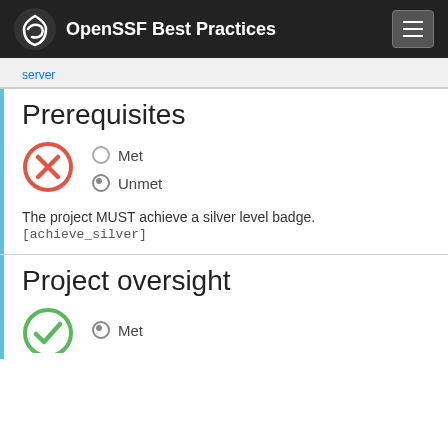OpenSSF Best Practices
server
Prerequisites
[Figure (illustration): Red circle with X icon indicating unmet status]
The project MUST achieve a silver level badge.
[achieve_silver]
Project oversight
[Figure (illustration): Green circle icon indicating met status (partially visible at bottom)]